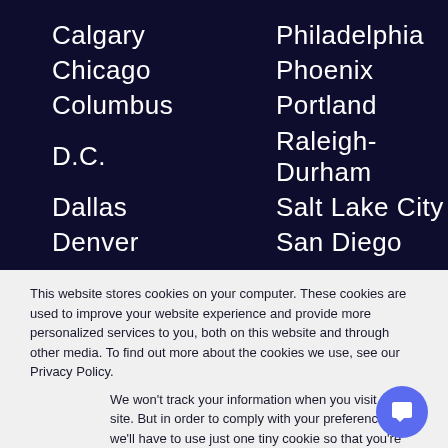Calgary
Philadelphia
Chicago
Phoenix
Columbus
Portland
D.C.
Raleigh-Durham
Dallas
Salt Lake City
Denver
San Diego
This website stores cookies on your computer. These cookies are used to improve your website experience and provide more personalized services to you, both on this website and through other media. To find out more about the cookies we use, see our Privacy Policy.
We won't track your information when you visit our site. But in order to comply with your preferences, we'll have to use just one tiny cookie so that you're not asked to make this choice again.